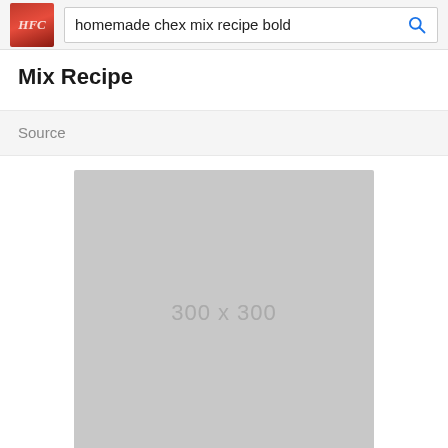homemade chex mix recipe bold
Mix Recipe
Source
[Figure (photo): Gray placeholder image 300x300]